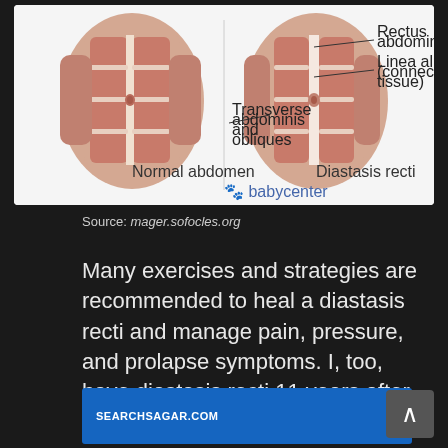[Figure (illustration): Medical diagram comparing Normal abdomen vs Diastasis recti, showing labeled anatomy: Rectus abdominis, Linea alba (connective tissue), Transverse abdominis and obliques. Sourced from babycenter. Left shows normal abdominal muscles, right shows diastasis recti with gap in center.]
Source: mager.sofocles.org
Many exercises and strategies are recommended to heal a diastasis recti and manage pain, pressure, and prolapse symptoms. I, too, have diastasis recti 11 years after giving birth.